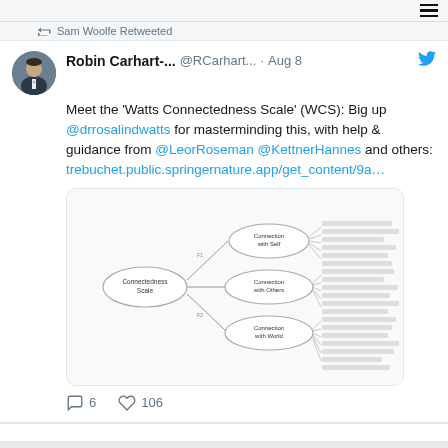Sam Woolfe Retweeted
Robin Carhart-... @RCarhart... · Aug 8
Meet the 'Watts Connectedness Scale' (WCS): Big up @drrosalindwatts for masterminding this, with help & guidance from @LeorRoseman @KettnerHannes and others: trebuchet.public.springernature.app/get_content/9a…
[Figure (schematic): Blurred diagram showing a hierarchical/factor structure with oval nodes (Connectedness) branching to other oval nodes (Connection with Self, Connection with Others, Connection with World) which connect to numbered list items on the right side — appears to be the Watts Connectedness Scale factor structure.]
6  106